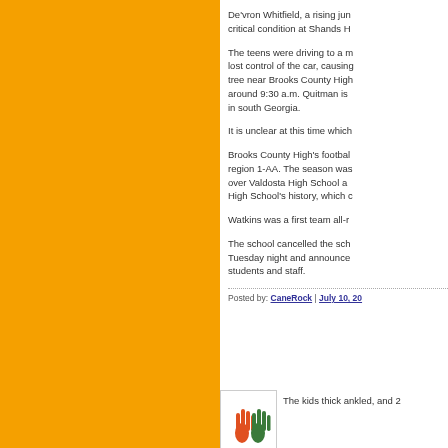De'vron Whitfield, a rising jun... critical condition at Shands H...
The teens were driving to a m... lost control of the car, causinc... tree near Brooks County High... around 9:30 a.m. Quitman is ... in south Georgia.
It is unclear at this time which...
Brooks County High's footbal... region 1-AA. The season was... over Valdosta High School a... High School's history, which c...
Watkins was a first team all-r...
The school cancelled the sch... Tuesday night and announce... students and staff.
Posted by: CaneRock | July 10, 20...
The kids thick ankled, and 2 ...